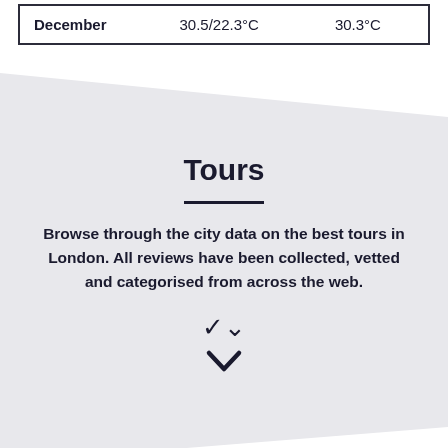| December | 30.5/22.3°C | 30.3°C |
Tours
Browse through the city data on the best tours in London. All reviews have been collected, vetted and categorised from across the web.
Please Login to add a comment